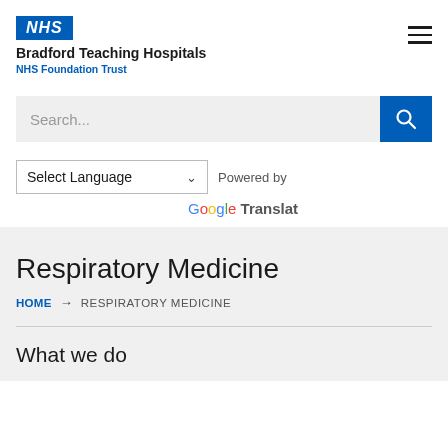[Figure (logo): NHS logo (blue square with NHS in white italic) and Bradford Teaching Hospitals NHS Foundation Trust text]
[Figure (other): Hamburger menu icon (three horizontal lines)]
[Figure (other): Search bar with placeholder text 'Search...' and blue search button with magnifying glass icon]
Select Language  Powered by
Google Translat
Respiratory Medicine
HOME → RESPIRATORY MEDICINE
What we do